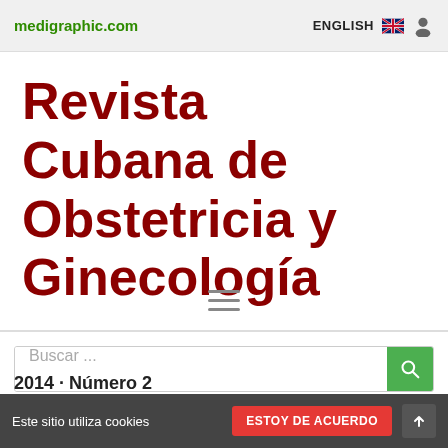medigraphic.com   ENGLISH
Revista Cubana de Obstetricia y Ginecología
[Figure (other): Hamburger menu icon (three horizontal lines)]
Buscar ...
En este Revista
Este sitio utiliza cookies  ESTOY DE ACUERDO
2014 · Número 2